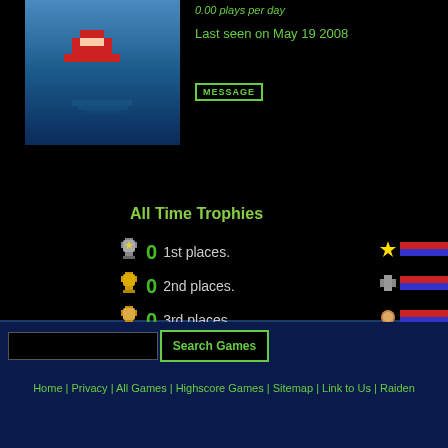[Figure (screenshot): Pixel art game character (red figure) on teal/blue background]
0.00 plays per day
Last seen on May 19 2008
MESSAGE
All Time Trophies
0 1st places.
0 2nd places.
0 3rd places.
Home | Privacy | All Games | Highscore Games | Sitemap | Link to Us | Raiden